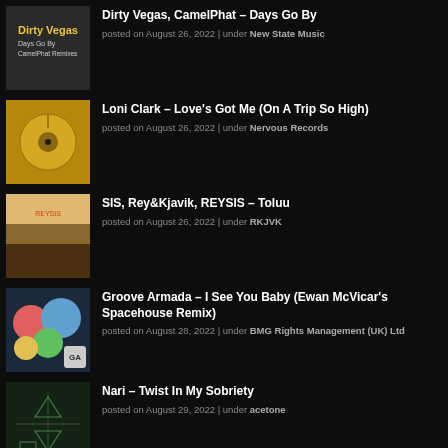Dirty Vegas, CamelPhat – Days Go By
posted on August 26, 2022 | under New State Music
Loni Clark – Love's Got Me (On A Trip So High)
posted on August 26, 2022 | under Nervous Records
SIS, Rey&Kjavik, REYSIS – Toluu
posted on August 26, 2022 | under RKJVK
Groove Armada – I See You Baby (Ewan McVicar's Spacehouse Remix)
posted on August 28, 2022 | under BMG Rights Management (UK) Ltd
Nari – Twist In My Sobriety
posted on August 29, 2022 | under acetone